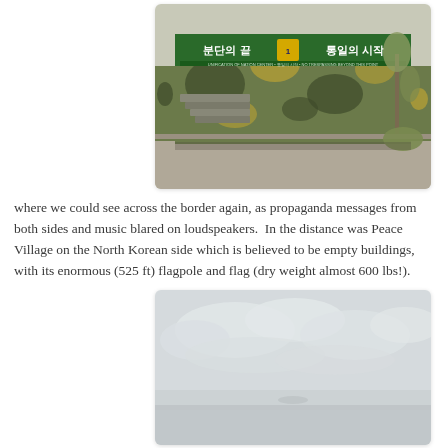[Figure (photo): A camouflage-painted military checkpoint or visitor center building in Korea with Korean text on a green sign reading '분단의 끝 통일의 시작' (End of Division, Beginning of Unification). The building has stairs leading up to it and is decorated in green and brown camouflage patterns.]
where we could see across the border again, as propaganda messages from both sides and music blared on loudspeakers.  In the distance was Peace Village on the North Korean side which is believed to be empty buildings, with its enormous (525 ft) flagpole and flag (dry weight almost 600 lbs!).
[Figure (photo): A hazy, overcast landscape photo showing a distant horizon with low visibility, likely showing the view across the Korean border toward North Korea. The sky is pale grey-white with some clouds and the ground is barely visible in the distance.]